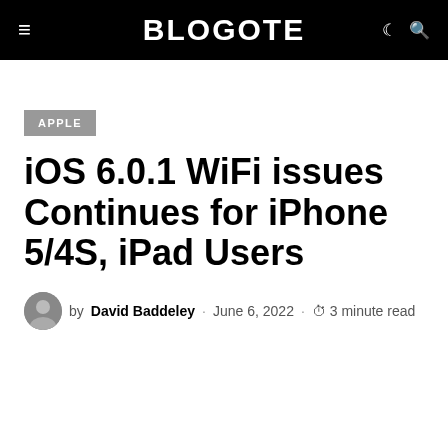BLOGOTE
APPLE
iOS 6.0.1 WiFi issues Continues for iPhone 5/4S, iPad Users
by David Baddeley · June 6, 2022 · 3 minute read